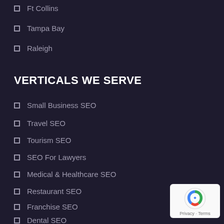Ft Collins
Tampa Bay
Raleigh
VERTICALS WE SERVE
Small Business SEO
Travel SEO
Tourism SEO
SEO For Lawyers
Medical & Healthcare SEO
Restaurant SEO
Franchise SEO
Dental SEO